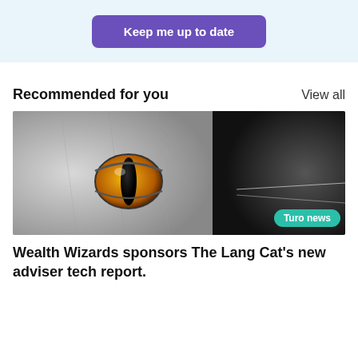[Figure (other): Purple 'Keep me up to date' button on light blue background]
Recommended for you
View all
[Figure (photo): Close-up black and white photo of a cat's face with a striking amber/orange eye, with a 'Turo news' badge in the bottom right corner]
Wealth Wizards sponsors The Lang Cat's new adviser tech report.